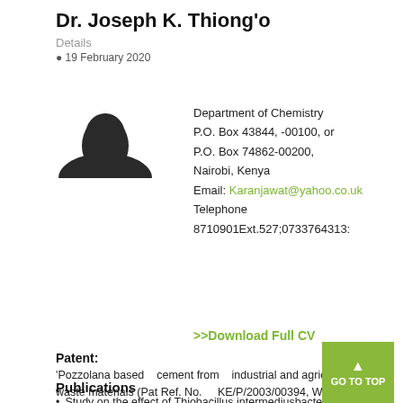Dr. Joseph K. Thiong'o
Details
19 February 2020
[Figure (photo): Head and shoulders photo/silhouette of Dr. Joseph K. Thiong'o]
Department of Chemistry
P.O. Box 43844, -00100, or
P.O. Box 74862-00200,
Nairobi, Kenya
Email: Karanjawat@yahoo.co.uk
Telephone 8710901Ext.527;0733764313:
>>Download Full CV
Patent:
'Pozzolana based   cement from   industrial and agricultural waste materials (Pat Ref. No.    KE/P/2003/00394, WIPO ref. No. IC/04/1734/KE-CA
Publications
Study on the effect of Thiobacillus intermediusbacteria on thephysico-mechanical properties of mortars of ordinary portland